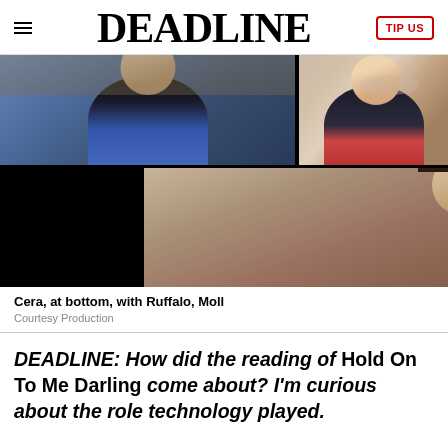DEADLINE | TIP US
[Figure (photo): Video call screenshot showing three participants: man in blue jacket (top left), woman smiling (top right), man with curly hair at bottom center]
Cera, at bottom, with Ruffalo, Moll
Courtesy Production
DEADLINE: How did the reading of Hold On To Me Darling come about? I'm curious about the role technology played.